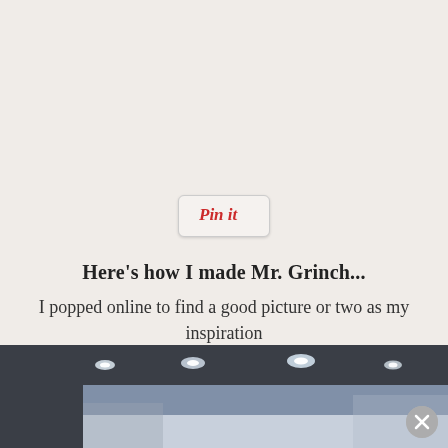[Figure (other): Pinterest 'Pin it' button with red cursive text on light grey rounded rectangle button]
Here's how I made Mr. Grinch...
I popped online to find a good picture or two as my inspiration
[Figure (photo): Interior room photo showing ceiling with recessed lighting and blue/grey toned walls, partially visible]